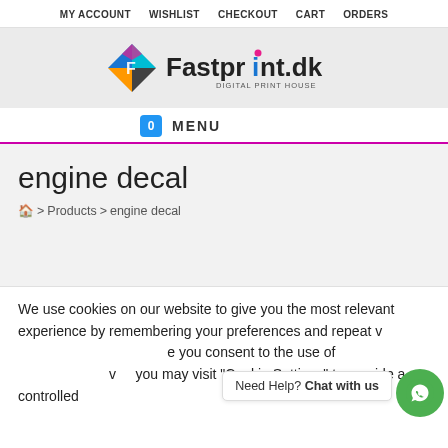MY ACCOUNT  WISHLIST  CHECKOUT  CART  ORDERS
[Figure (logo): Fastprint.dk Digital Print House logo with colorful diamond shape icon]
0  MENU
engine decal
🏠 > Products > engine decal
We use cookies on our website to give you the most relevant experience by remembering your preferences and repeat v... e you consent to the use of ... v... you may visit "Cookie Settings" to provide a controlled consent.
Need Help? Chat with us